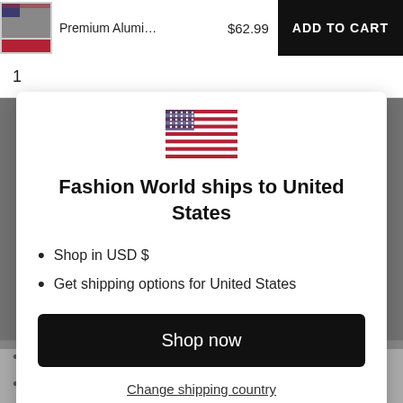[Figure (screenshot): E-commerce product listing top bar with product thumbnail image, product name 'Premium Alumi...', price '$62.99', and 'ADD TO CART' black button]
1
[Figure (illustration): US flag SVG illustration]
Fashion World ships to United States
Shop in USD $
Get shipping options for United States
Shop now
Change shipping country
The future of USB connectivity.
USB-C Compatible: Designed to work with the